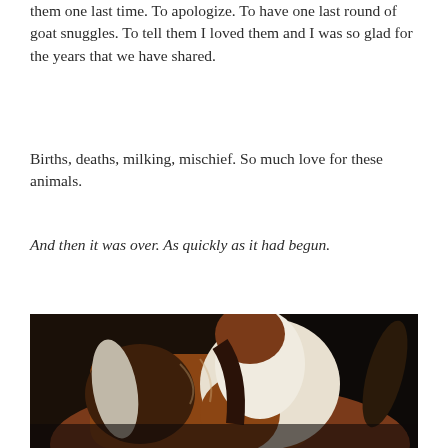them one last time. To apologize. To have one last round of goat snuggles. To tell them I loved them and I was so glad for the years that we have shared.
Births, deaths, milking, mischief. So much love for these animals.
And then it was over. As quickly as it had begun.
[Figure (photo): Close-up photograph of a goat's head and ears. The goat has brown, white, and black coloring with long drooping ears. Dark background.]